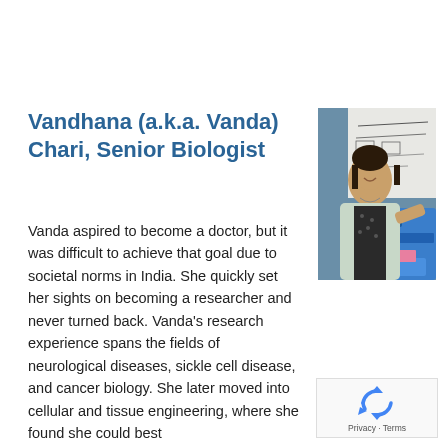Vandhana (a.k.a. Vanda) Chari, Senior Biologist
[Figure (photo): Photo of Vandhana (Vanda) Chari, a woman with dark hair, wearing a light jacket and dark patterned top, smiling and standing next to blue laboratory equipment with a whiteboard visible in the background.]
Vanda aspired to become a doctor, but it was difficult to achieve that goal due to societal norms in India. She quickly set her sights on becoming a researcher and never turned back. Vanda's research experience spans the fields of neurological diseases, sickle cell disease, and cancer biology. She later moved into cellular and tissue engineering, where she found she could best
[Figure (other): reCAPTCHA widget showing the reCAPTCHA logo (recycling arrows icon) with 'Privacy · Terms' text below.]